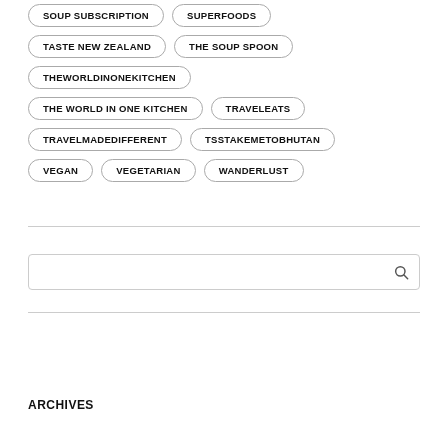SOUP SUBSCRIPTION
SUPERFOODS
TASTE NEW ZEALAND
THE SOUP SPOON
THEWORLDINONEKITCHEN
THE WORLD IN ONE KITCHEN
TRAVELEATS
TRAVELMADEDIFFERENT
TSSTAKEMETOBHUTAN
VEGAN
VEGETARIAN
WANDERLUST
ARCHIVES